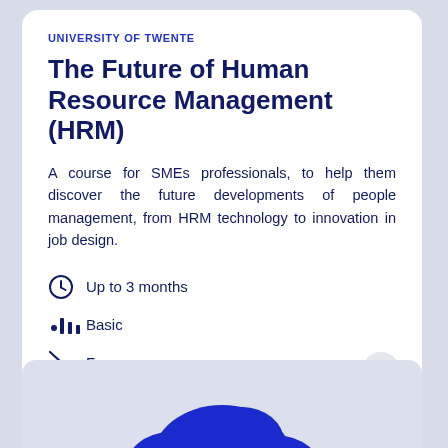UNIVERSITY OF TWENTE
The Future of Human Resource Management (HRM)
A course for SMEs professionals, to help them discover the future developments of people management, from HRM technology to innovation in job design.
Up to 3 months
Basic
Free
[Figure (illustration): Blue cloud illustration at bottom of page]